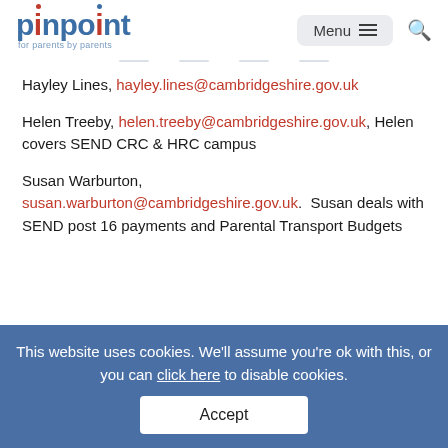pinpoint for parents by parents — Menu | Search
Hayley Lines, hayley.lines@cambridgeshire.gov.uk
Helen Treeby, helen.treeby@cambridgeshire.gov.uk, Helen covers SEND CRC & HRC campus
Susan Warburton, susan.warburton@cambridgeshire.gov.uk.  Susan deals with SEND post 16 payments and Parental Transport Budgets
This website uses cookies. We'll assume you're ok with this, or you can click here to disable cookies. Accept